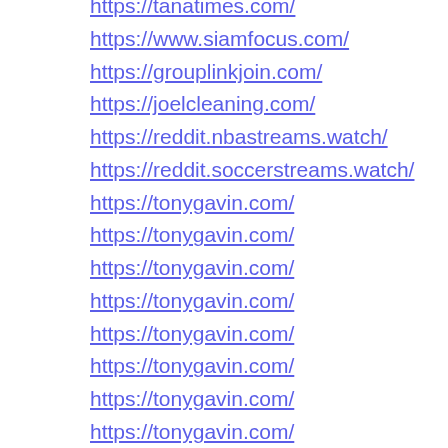https://tanatimes.com/
https://www.siamfocus.com/
https://grouplinkjoin.com/
https://joelcleaning.com/
https://reddit.nbastreams.watch/
https://reddit.soccerstreams.watch/
https://tonygavin.com/
https://tonygavin.com/
https://tonygavin.com/
https://tonygavin.com/
https://tonygavin.com/
https://tonygavin.com/
https://tonygavin.com/
https://tonygavin.com/
https://tonygavin.com/
https://tonygavin.com/
https://airconditioningorangecounty.wordpress.com
https://airconditioningorangecounty.wordpress.com
https://airconditioningorangecounty.wordpress.com